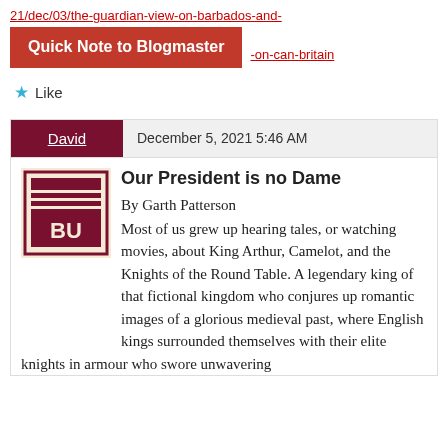21/dec/03/the-guardian-view-on-barbados-and-
Quick Note to Blogmaster   -on-can-britain
★ Like
David   December 5, 2021 5:46 AM
Our President is no Dame
By Garth Patterson
Most of us grew up hearing tales, or watching movies, about King Arthur, Camelot, and the Knights of the Round Table. A legendary king of that fictional kingdom who conjures up romantic images of a glorious medieval past, where English kings surrounded themselves with their elite knights in armour who swore unwavering